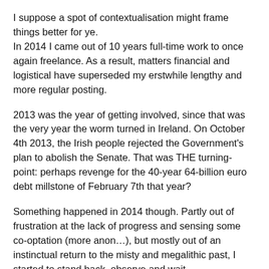I suppose a spot of contextualisation might frame things better for ye.
In 2014 I came out of 10 years full-time work to once again freelance. As a result, matters financial and logistical have superseded my erstwhile lengthy and more regular posting.
2013 was the year of getting involved, since that was the very year the worm turned in Ireland. On October 4th 2013, the Irish people rejected the Government's plan to abolish the Senate. That was THE turning-point: perhaps revenge for the 40-year 64-billion euro debt millstone of February 7th that year?
Something happened in 2014 though. Partly out of frustration at the lack of progress and sensing some co-optation (more anon…), but mostly out of an instinctual return to the misty and megalithic past, I started to stand back, observe and wait.
Oh and what an education that has been…